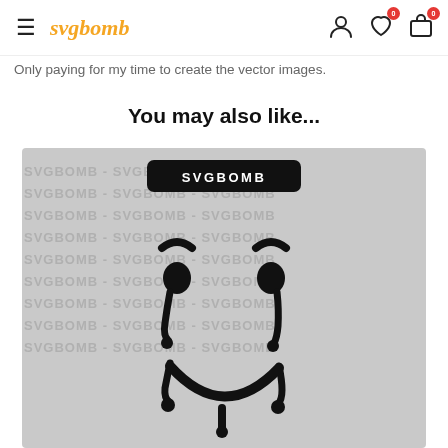svgbomb — navigation header with hamburger menu, logo, user icon, wishlist (0), cart (0)
Only paying for my time to create the vector images.
You may also like...
[Figure (illustration): Product preview image showing a melting smiley face SVG graphic on a textured grey background with repeating SVGBOMB watermark text. A black rounded rectangle label reading SVGBOMB appears at the top center of the image.]